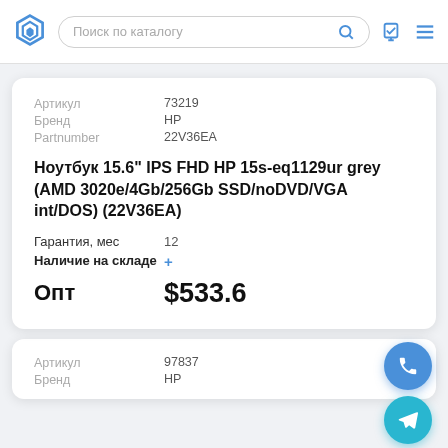Поиск по каталогу
| Артикул | 73219 |
| --- | --- |
| Бренд | HP |
| Partnumber | 22V36EA |
Ноутбук 15.6" IPS FHD HP 15s-eq1129ur grey (AMD 3020e/4Gb/256Gb SSD/noDVD/VGA int/DOS) (22V36EA)
| Гарантия, мес | 12 |
| Наличие на складе | + |
| Опт | $533.6 |
| Артикул | 97837 |
| --- | --- |
| Бренд | HP |